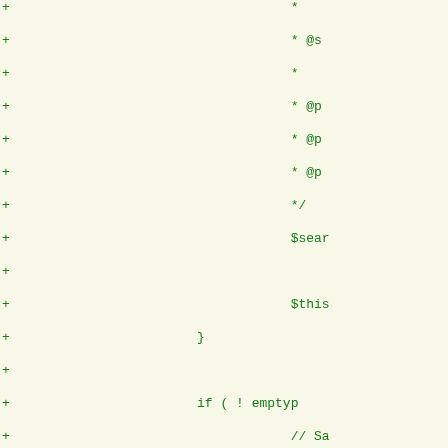[Figure (screenshot): Code diff view showing PHP code additions (green + lines). Content includes comment block with @param tags, $search and $this variable assignments, closing brace, if/elseif conditionals with $ids and $this variables, date query section, closing brace, and start of a PHPDoc comment block with 'Fires afte', 'the query', and 'The passed' text.]